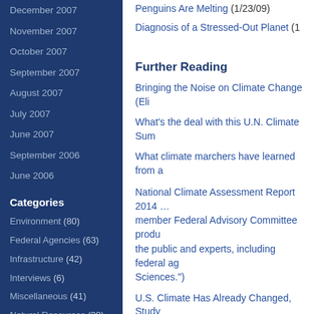December 2007
November 2007
October 2007
September 2007
August 2007
July 2007
June 2007
September 2006
June 2006
Categories
Environment (80)
Federal Agencies (63)
Infrastructure (42)
Interviews (6)
Miscellaneous (41)
Natural Resources (39)
NOLA, Gulf Coast (111)
Politics/Economy (257)
Penguins Are Melting (1/23/09)
Diagnosis of a Stressed-Out Planet (…)
Further Reading
Bringing the Noise on Climate Change (Eli…
What's the deal with this U.N. Climate Sum…
What climate marchers have learned from a…
National Climate Assessment Report 2014 … member Federal Advisory Committee produ… the public and experts, including federal ag… Sciences.")
U.S. Climate Has Already Changed, Study…
Scientists Warn of Rising Oceans from Pol…
This Is What a Holy Shit Moment for Global…
Humans Have Already Set in Motion 69 Fe…